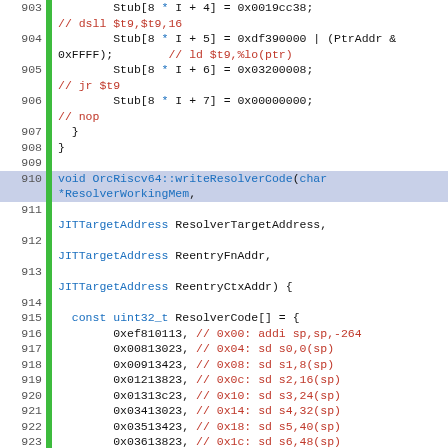[Figure (screenshot): Source code editor showing C++ code for OrcRiscv64 stub and writeResolverCode function, lines 903-929, with syntax highlighting in Courier New monospace font. Line numbers on left, green gutter bar, blue keywords/types, red comments/assembly instructions.]